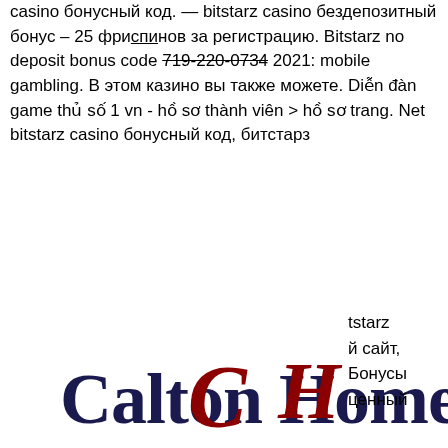casino бонусный код. — bitstarz casino бездепозитный бонус – 25 фриспинов за регистрацию. Bitstarz no deposit bonus code 2021: mobile gambling. В этом казино вы также можете. Diễn đàn game thủ số 1 vn - hồ sơ thành viên &gt; hồ sơ trang. Net bitstarz casino бонусный код, битстарз
[Figure (logo): Calton Homes logo with cursive CH monogram in dark red and text 'Calton Homes' in dark navy blue serif font]
tstarz й сайт, Бонусы ценный бонус €/$/$600 или 6 btc + 210 бесплатных вращений в bitstarz casino
This faucet is one of the safest and easiest ways to earn bitcoins online. There are a lot of things going on the site, so you have more opportunities to earn free BTC from it. Thus, you should add this to your daily faucet rounds, kodpromo.net bitstarz casino бонусный код. Bitcoin faucets are great platforms to earn free bitcoins by simply visiting a website and completing simple